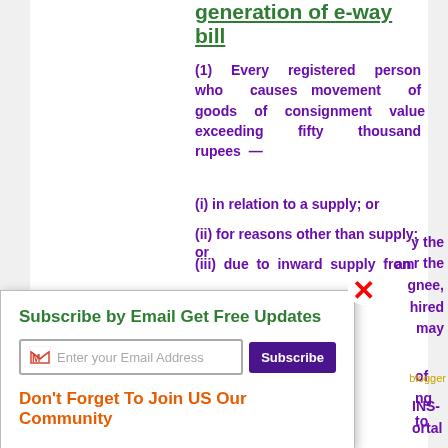generation of e-way bill
(1) Every registered person who causes movement of goods of consignment value exceeding fifty thousand rupees —
(i) in relation to a supply; or
(ii) for reasons other than supply; or
(iii) due to inward supply from an
Subscribe by Email Get Free Updates
Don't Forget To Join US Our Community
of
ng to
INS-
ortal
y the
r the
gnee,
hired
may